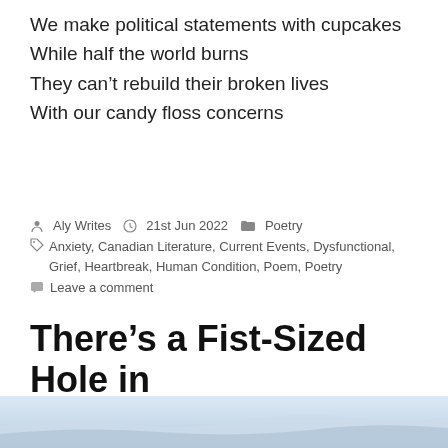We make political statements with cupcakes
While half the world burns
They can't rebuild their broken lives
With our candy floss concerns
By Aly Writes  21st Jun 2022  Poetry
Anxiety, Canadian Literature, Current Events, Dysfunctional, Grief, Heartbreak, Human Condition, Poem, Poetry
Leave a comment
There's a Fist-Sized Hole in the Kitchen Window
[Figure (photo): Partial view of a light blue/grey sky or winter scene photo at bottom of page]